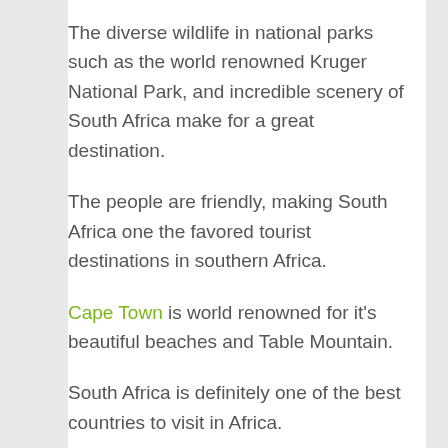The diverse wildlife in national parks such as the world renowned Kruger National Park, and incredible scenery of South Africa make for a great destination.
The people are friendly, making South Africa one the favored tourist destinations in southern Africa.
Cape Town is world renowned for it's beautiful beaches and Table Mountain.
South Africa is definitely one of the best countries to visit in Africa.
Even though South Africa does have violent crime incidents, for the majority, South Africa